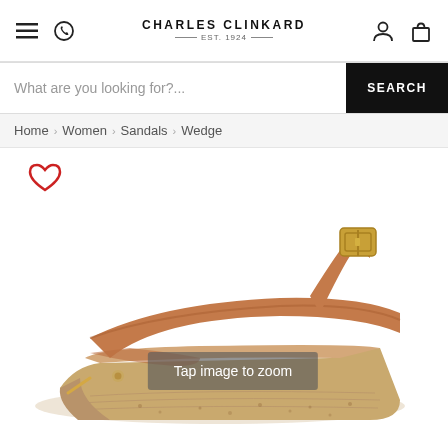Charles Clinkard EST. 1924 — navigation header with menu, phone, account, and bag icons
What are you looking for?... SEARCH
Home › Women › Sandals › Wedge
[Figure (photo): Tan leather wedge sandal with cork wedge heel, gold buckle ankle strap, and open toe, shown on white background. Overlay text reads 'Tap image to zoom'. Wishlist heart icon in top left corner.]